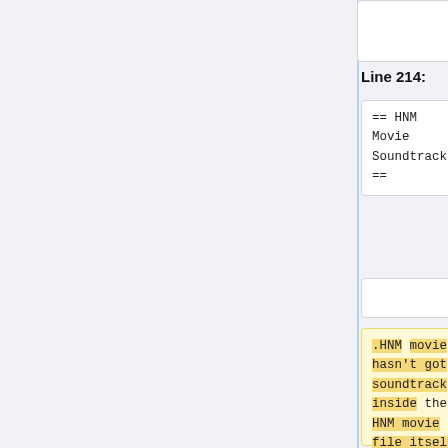Line 214:
Line 214:
== HNM Movie Soundtracks ==
== HNM Movie Soundtracks ==
.HNM movie hasn't got soundtrack inside the HNM movie file itself.
There are several structural variants on the HNM6 format when in reference to its dependency on APC audio. The